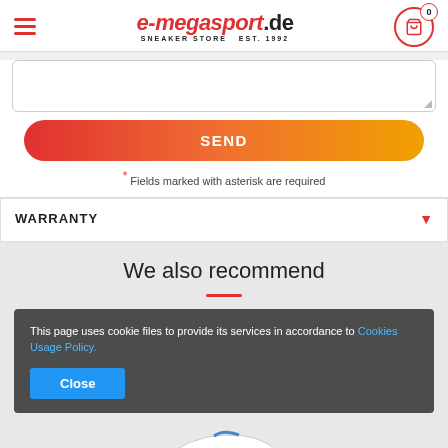[Figure (logo): e-megasport.de sneaker store logo with hamburger menu and cart icon showing 0 items]
[Figure (screenshot): Textarea input box (empty) with resize handle]
SEND
* Fields marked with asterisk are required
WARRANTY
We also recommend
This page uses cookie files to provide its services in accordance to Cookies Usage Policy.
Close